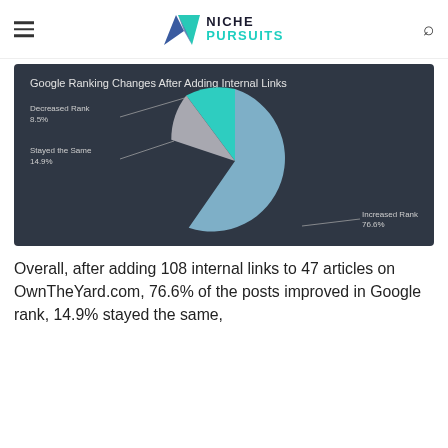NICHE PURSUITS
[Figure (pie-chart): Google Ranking Changes After Adding Internal Links]
Overall, after adding 108 internal links to 47 articles on OwnTheYard.com, 76.6% of the posts improved in Google rank, 14.9% stayed the same,